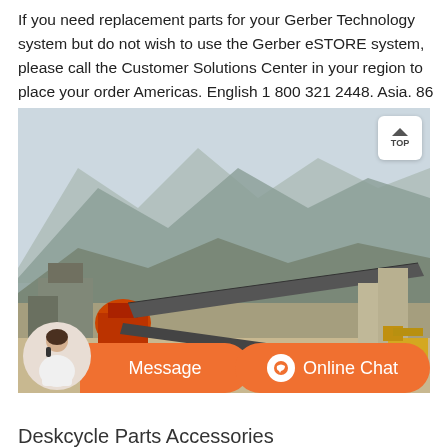If you need replacement parts for your Gerber Technology system but do not wish to use the Gerber eSTORE system, please call the Customer Solutions Center in your region to place your order Americas. English 1 800 321 2448. Asia. 86 (21) 5445 0505.
[Figure (photo): Industrial quarry or mining site with large conveyor belts, crushing machinery, and mountainous terrain in the background. Orange chat/message overlay bar at the bottom with a customer service representative.]
Deskcycle Parts Accessories